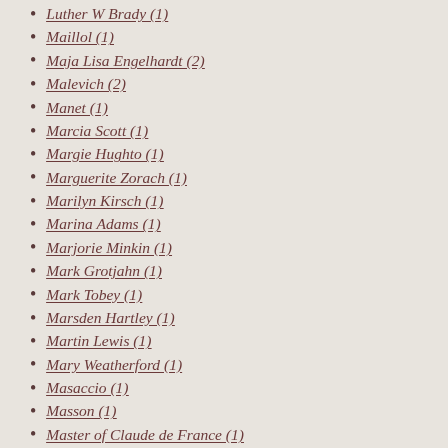Luther W Brady (1)
Maillol (1)
Maja Lisa Engelhardt (2)
Malevich (2)
Manet (1)
Marcia Scott (1)
Margie Hughto (1)
Marguerite Zorach (1)
Marilyn Kirsch (1)
Marina Adams (1)
Marjorie Minkin (1)
Mark Grotjahn (1)
Mark Tobey (1)
Marsden Hartley (1)
Martin Lewis (1)
Mary Weatherford (1)
Masaccio (1)
Masson (1)
Master of Claude de France (1)
Matisse (16)
Maurizio Cattelan (2)
Max Beckmann (2)
Melvin Edwards (1)
Meret Oppenheim (1)
Michael Filan (1)
Michael Gregory (1)